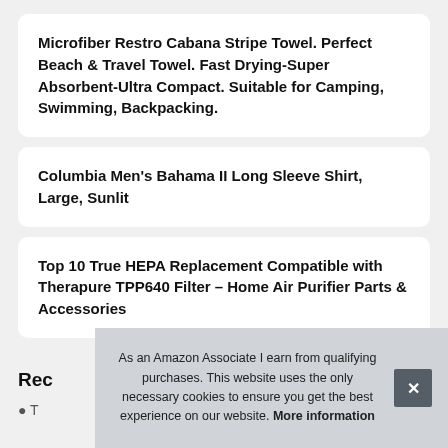Microfiber Restro Cabana Stripe Towel. Perfect Beach & Travel Towel. Fast Drying-Super Absorbent-Ultra Compact. Suitable for Camping, Swimming, Backpacking.
Columbia Men's Bahama II Long Sleeve Shirt, Large, Sunlit
Top 10 True HEPA Replacement Compatible with Therapure TPP640 Filter – Home Air Purifier Parts & Accessories
Rec
T
As an Amazon Associate I earn from qualifying purchases. This website uses the only necessary cookies to ensure you get the best experience on our website. More information